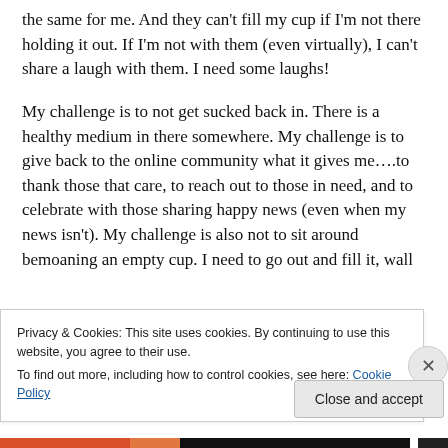the same for me. And they can't fill my cup if I'm not there holding it out. If I'm not with them (even virtually), I can't share a laugh with them. I need some laughs!
My challenge is to not get sucked back in. There is a healthy medium in there somewhere. My challenge is to give back to the online community what it gives me….to thank those that care, to reach out to those in need, and to celebrate with those sharing happy news (even when my news isn't). My challenge is also not to sit around bemoaning an empty cup. I need to go out and fill it, wall
Privacy & Cookies: This site uses cookies. By continuing to use this website, you agree to their use.
To find out more, including how to control cookies, see here: Cookie Policy
Close and accept